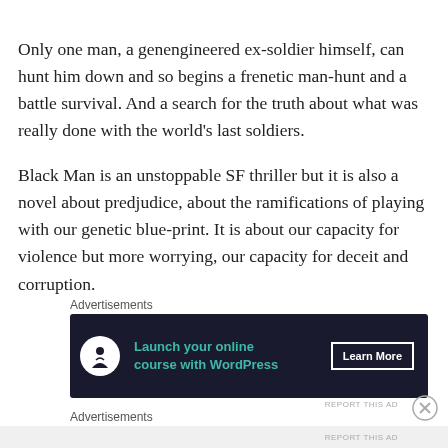Only one man, a genengineered ex-soldier himself, can hunt him down and so begins a frenetic man-hunt and a battle survival. And a search for the truth about what was really done with the world’s last soldiers.
Black Man is an unstoppable SF thriller but it is also a novel about predjudice, about the ramifications of playing with our genetic blue-print. It is about our capacity for violence but more worrying, our capacity for deceit and corruption.
Advertisements
[Figure (screenshot): Advertisement banner for WordPress online course with dark background, teal text reading 'Launch your online course with WordPress', a white circle icon with tree/person figure, and a 'Learn More' button]
REPORT THIS AD
Advertisements
REPORT THIS AD